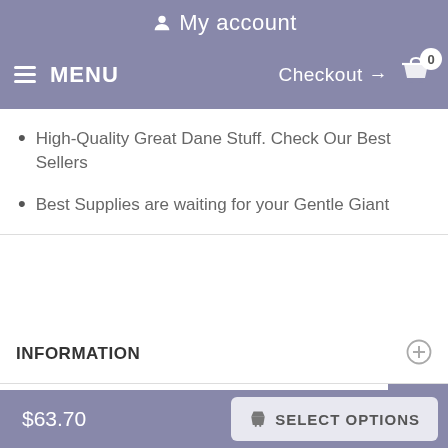My account
MENU  Checkout → 0
High-Quality Great Dane Stuff. Check Our Best Sellers
Best Supplies are waiting for your Gentle Giant
INFORMATION
MY ACCOUNT
$63.70
SELECT OPTIONS